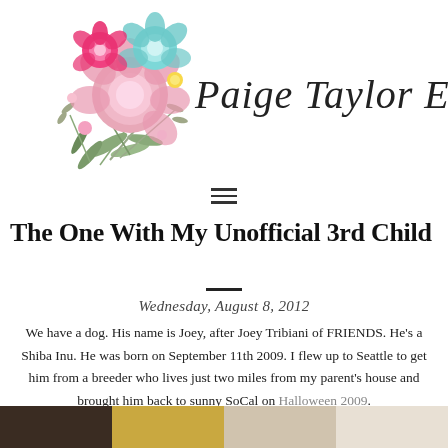[Figure (logo): Paige Taylor Evans blog header with watercolor floral illustration and cursive script name]
[Figure (illustration): Hamburger menu icon (three horizontal lines)]
The One With My Unofficial 3rd Child
Wednesday, August 8, 2012
We have a dog. His name is Joey, after Joey Tribiani of FRIENDS. He's a Shiba Inu. He was born on September 11th 2009. I flew up to Seattle to get him from a breeder who lives just two miles from my parent's house and brought him back to sunny SoCal on Halloween 2009.
[Figure (photo): Photo strip at bottom showing multiple images including a dog and people]